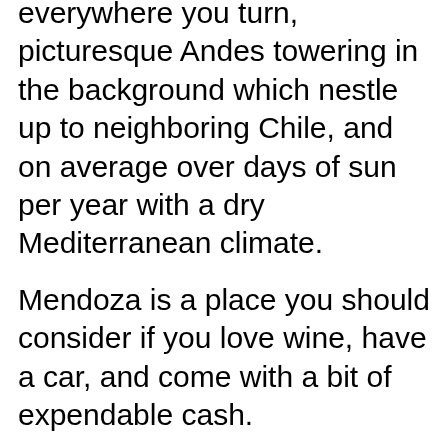everywhere you turn, picturesque Andes towering in the background which nestle up to neighboring Chile, and on average over days of sun per year with a dry Mediterranean climate.
Mendoza is a place you should consider if you love wine, have a car, and come with a bit of expendable cash.
Bariloche : With its mountains, glacial lakes, wildflowers, and chocolate, Bariloche is like living in the Swiss Alps at a fraction of the cost and with no expectation for punctuality. Its draws include an impressive craft-beer scene; world-class skiing at Cerro Catedral; and Lago Nahuel Huapi, a huge lake at the base of town that offers sailing, kiteboarding, and some lovely secluded beaches. Plus, just outside of the city is some spectacular hiking, so you get both